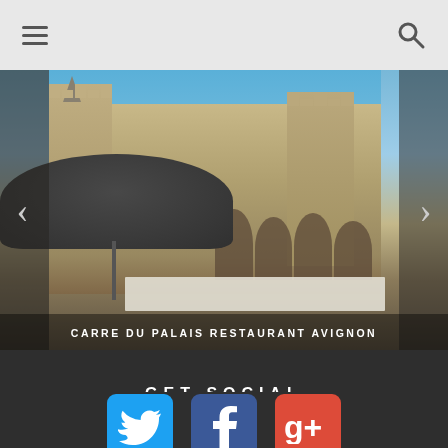[Figure (screenshot): Navigation bar with hamburger menu icon on left and search magnifier icon on right, light gray background]
[Figure (photo): Slideshow image of Carre du Palais restaurant in Avignon, showing the historic Palais des Papes cathedral with large stone Gothic towers and market umbrellas in the foreground, with left and right navigation arrows]
CARRE DU PALAIS RESTAURANT AVIGNON
GET SOCIAL
[Figure (infographic): Row of three social media icon buttons: Twitter (blue bird), Facebook (blue f), Google+ (red g+)]